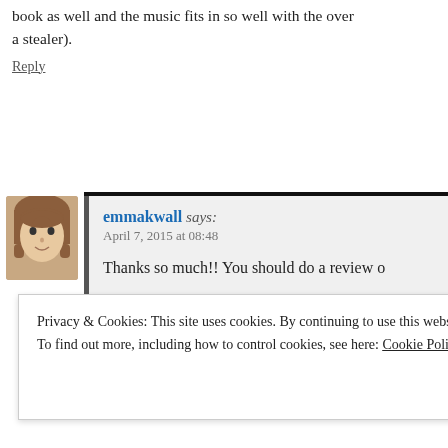book as well and the music fits in so well with the over a stealer).
Reply
emmakwall says:
April 7, 2015 at 08:48

Thanks so much!! You should do a review o

I have been listening to this soundtrack ove this and have enjoyed it a lot 🙂
Reply
Privacy & Cookies: This site uses cookies. By continuing to use this website, you agree to their use.
To find out more, including how to control cookies, see here: Cookie Policy
Close and accept